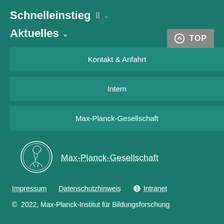Schnelleinstieg ∨
Aktuelles ∨
Kontakt & Anfahrt
Intern
Max-Planck-Gesellschaft
[Figure (logo): Max-Planck-Gesellschaft circular medallion logo with figure profile]
Max-Planck-Gesellschaft
Impressum    Datenschutzhinweis    ⊘ Intranet
© 2022, Max-Planck-Institut für Bildungsforschung